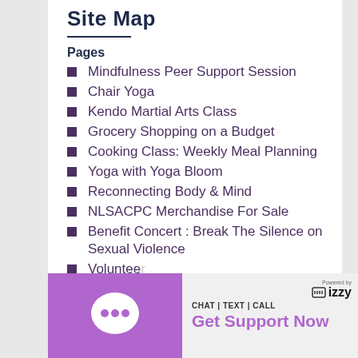Site Map
Pages
Mindfulness Peer Support Session
Chair Yoga
Kendo Martial Arts Class
Grocery Shopping on a Budget
Cooking Class: Weekly Meal Planning
Yoga with Yoga Bloom
Reconnecting Body & Mind
NLSACPC Merchandise For Sale
Benefit Concert : Break The Silence on Sexual Violence
Volunteer
About Us
Events
[Figure (screenshot): Chat widget overlay with purple speech bubble icon and text: CHAT | TEXT | CALL Get Support Now, Powered by Fizzy logo]